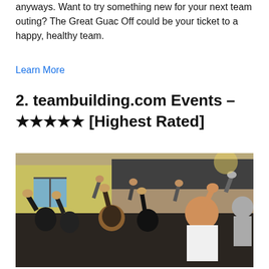anyways. Want to try something new for your next team outing? The Great Guac Off could be your ticket to a happy, healthy team.
Learn More
2. teambuilding.com Events – ★★★★★ [Highest Rated]
[Figure (photo): A group of people outdoors with their hands raised, participating in a team building event.]